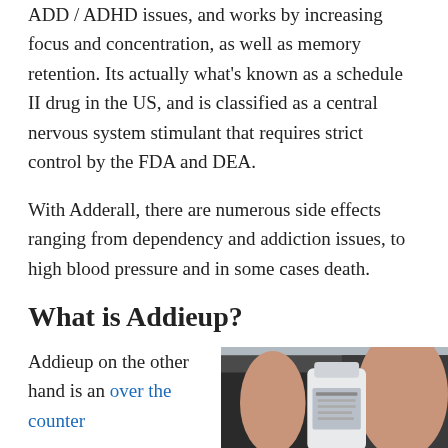It is designed to help men and women suffering from ADD / ADHD issues, and works by increasing focus and concentration, as well as memory retention. Its actually what's known as a schedule II drug in the US, and is classified as a central nervous system stimulant that requires strict control by the FDA and DEA.
With Adderall, there are numerous side effects ranging from dependency and addiction issues, to high blood pressure and in some cases death.
What is Addieup?
Addieup on the other hand is an over the counter
[Figure (photo): Person holding a supplement bottle, partial view showing arms and the bottle label]